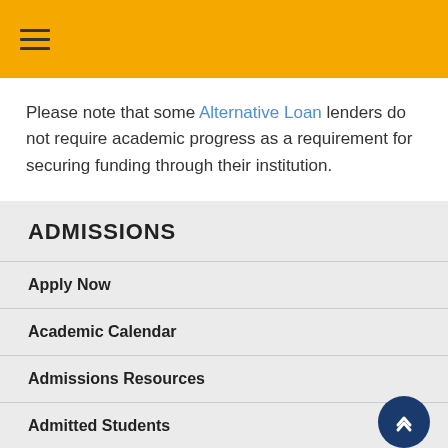☰
Please note that some Alternative Loan lenders do not require academic progress as a requirement for securing funding through their institution.
ADMISSIONS
Apply Now
Academic Calendar
Admissions Resources
Admitted Students
Code of Conduct
Financial Aid